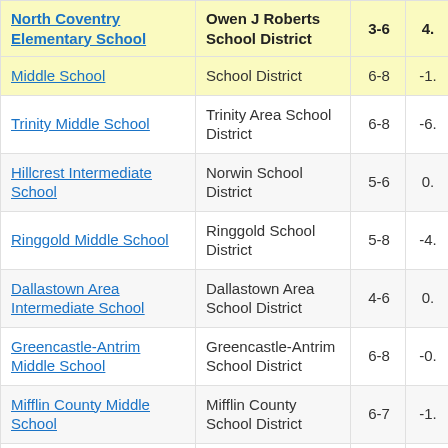| North Coventry Elementary School | Owen J Roberts School District | 3-6 | 4. |
| --- | --- | --- | --- |
| [partial] Middle School | School District | 6-8 | -1. |
| Trinity Middle School | Trinity Area School District | 6-8 | -6. |
| Hillcrest Intermediate School | Norwin School District | 5-6 | 0. |
| Ringgold Middle School | Ringgold School District | 5-8 | -4. |
| Dallastown Area Intermediate School | Dallastown Area School District | 4-6 | 0. |
| Greencastle-Antrim Middle School | Greencastle-Antrim School District | 6-8 | -0. |
| Mifflin County Middle School | Mifflin County School District | 6-7 | -1. |
| Lower Dauphin [partial] | Lower Dauphin | 6-8 | 2. |